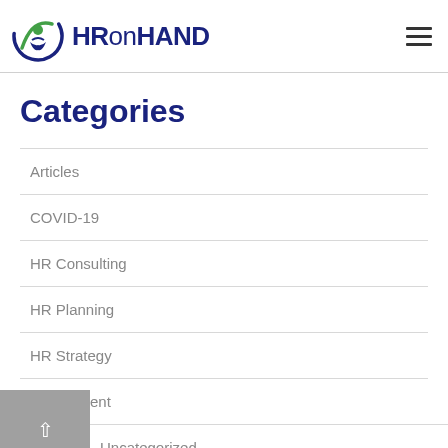HRonHAND
Categories
Articles
COVID-19
HR Consulting
HR Planning
HR Strategy
Recruitment
Uncategorized